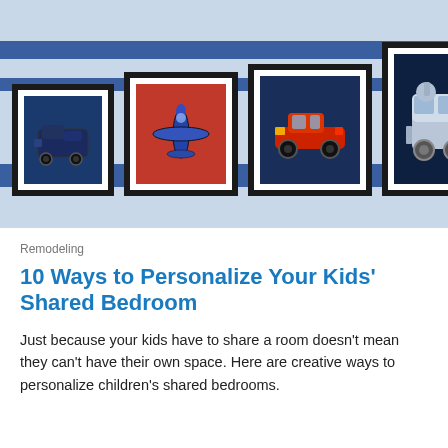[Figure (photo): A kids' bedroom wall with four framed art prints of vehicles (car/engine, airplane, classic red car, train) arranged in a row on a light blue wall with blue horizontal stripes.]
Remodeling
10 Ways to Personalize Your Kids' Shared Bedroom
Just because your kids have to share a room doesn't mean they can't have their own space. Here are creative ways to personalize children's shared bedrooms.